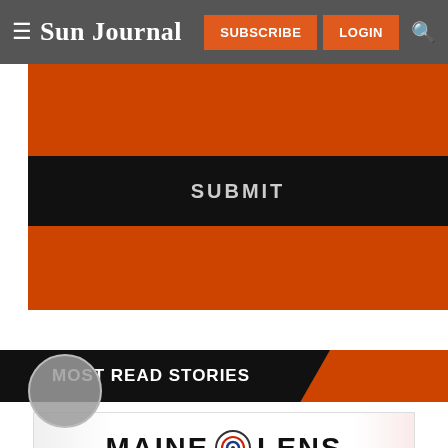Sun Journal — SUBSCRIBE LOGIN
[Figure (screenshot): Orange/dark web form area with a SUBMIT button on black background]
MOST READ STORIES
[Figure (logo): Maine Lens advertisement banner with circular camera lens logo]